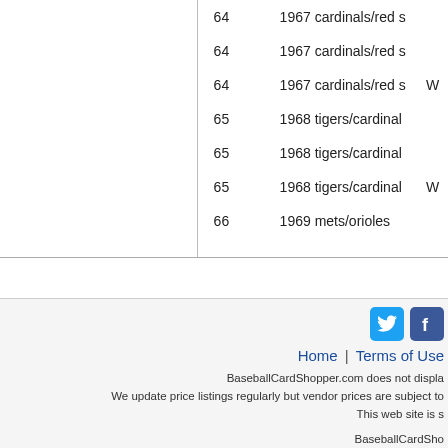|  | num | description | flag |
| --- | --- | --- | --- |
|  | 64 | 1967 cardinals/red s |  |
|  | 64 | 1967 cardinals/red s |  |
|  | 64 | 1967 cardinals/red s | W |
|  | 65 | 1968 tigers/cardinal |  |
|  | 65 | 1968 tigers/cardinal |  |
|  | 65 | 1968 tigers/cardinal | W |
|  | 66 | 1969 mets/orioles |  |
[Figure (logo): Twitter bird icon (blue square)]
[Figure (logo): Facebook icon (blue square, partial)]
Home | Terms of Use
BaseballCardShopper.com does not displa We update price listings regularly but vendor prices are subject to This web site is s
BaseballCardSho Copyright
This baseball card price site cove